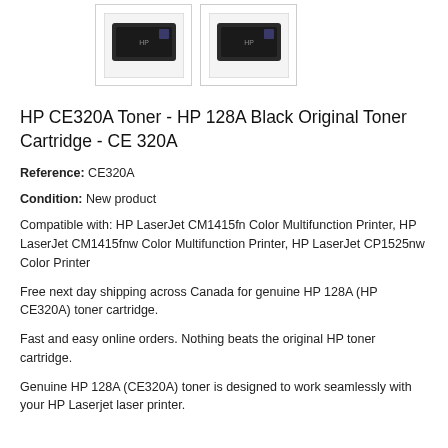[Figure (photo): Two thumbnail images of HP toner cartridge product boxes side by side]
HP CE320A Toner - HP 128A Black Original Toner Cartridge - CE 320A
Reference: CE320A
Condition: New product
Compatible with: HP LaserJet CM1415fn Color Multifunction Printer, HP LaserJet CM1415fnw Color Multifunction Printer, HP LaserJet CP1525nw Color Printer
Free next day shipping across Canada for genuine HP 128A (HP CE320A) toner cartridge.
Fast and easy online orders. Nothing beats the original HP toner cartridge.
Genuine HP 128A (CE320A) toner is designed to work seamlessly with your HP Laserjet laser printer.